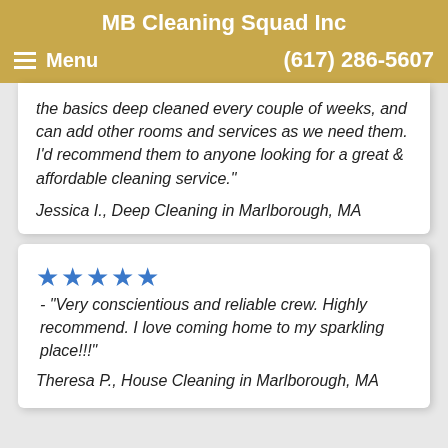MB Cleaning Squad Inc
Menu   (617) 286-5607
the basics deep cleaned every couple of weeks, and can add other rooms and services as we need them. I'd recommend them to anyone looking for a great & affordable cleaning service."
Jessica I., Deep Cleaning in Marlborough, MA
★★★★★ - "Very conscientious and reliable crew. Highly recommend. I love coming home to my sparkling place!!!"
Theresa P., House Cleaning in Marlborough, MA